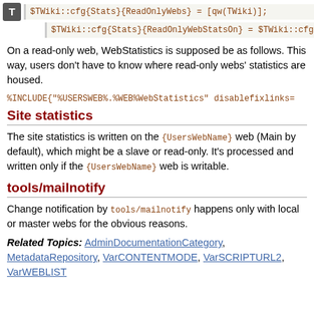$TWiki::cfg{Stats}{ReadOnlyWebs} = [qw(TWiki)];
$TWiki::cfg{Stats}{ReadOnlyWebStatsOn} = $TWiki::cfg{User
On a read-only web, WebStatistics is supposed be as follows. This way, users don't have to know where read-only webs' statistics are housed.
%INCLUDE{"%USERSWEB%.%WEB%WebStatistics" disablefixlinks=
Site statistics
The site statistics is written on the {UsersWebName} web (Main by default), which might be a slave or read-only. It's processed and written only if the {UsersWebName} web is writable.
tools/mailnotify
Change notification by tools/mailnotify happens only with local or master webs for the obvious reasons.
Related Topics: AdminDocumentationCategory, MetadataRepository, VarCONTENTMODE, VarSCRIPTURL2, VarWEBLIST